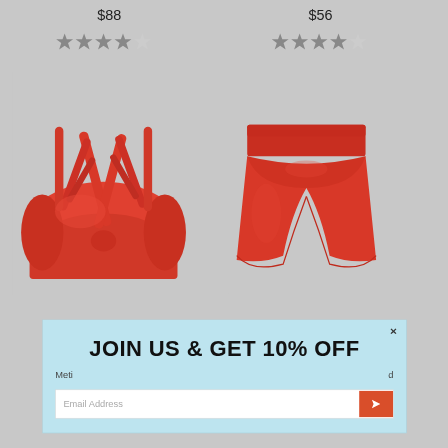$88
$56
[Figure (other): Star rating 3.5 out of 5 stars (left product)]
[Figure (other): Star rating 4 out of 5 stars (right product)]
[Figure (photo): Red coral sports bra with cross-back straps]
[Figure (photo): Red coral athletic shorts with waistband]
JOIN US & GET 10% OFF
Meti
d
Email Address
×